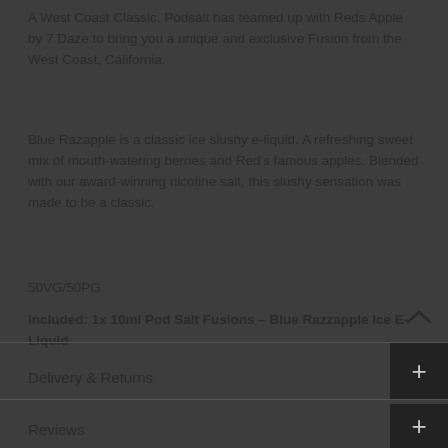A West Coast Classic. Podsalt has teamed up with Reds Apple by 7 Daze to bring you a unique and exclusive Fusion from the West Coast, California.
Blue Razapple is a classic ice slushy e-liquid. A refreshing sweet mix of mouth-watering berries and Red's famous apples. Blended with our award-winning nicotine salt, this slushy sensation was made to be a classic.
50VG/50PG
Included: 1x 10ml Pod Salt Fusions - Blue Razzapple Ice E-Liquid
Delivery & Returns
Reviews